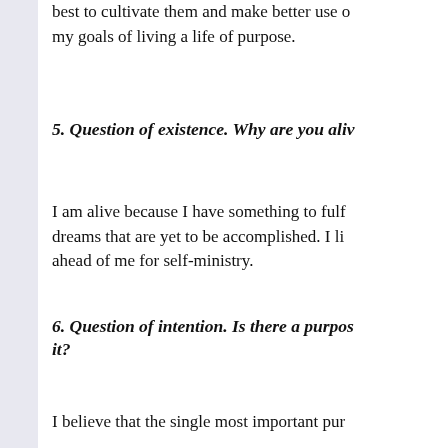best to cultivate them and make better use of my goals of living a life of purpose.
5. Question of existence. Why are you alive
I am alive because I have something to fulfill, dreams that are yet to be accomplished. I live ahead of me for self-ministry.
6. Question of intention. Is there a purpose it?
I believe that the single most important pur